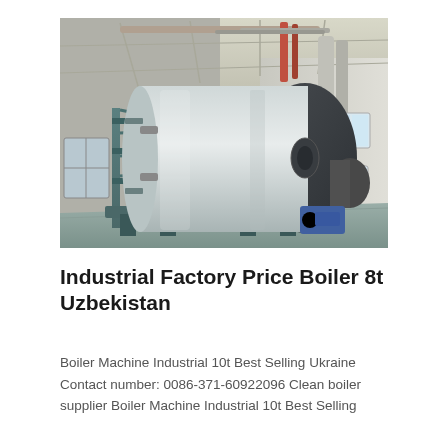[Figure (photo): Industrial boiler installation inside a large factory building. A large silver cylindrical boiler tank with a dark circular end cap is mounted on a blue steel frame structure. Pipes and ductwork run overhead. The facility interior has white walls and skylights.]
Industrial Factory Price Boiler 8t Uzbekistan
Boiler Machine Industrial 10t Best Selling Ukraine Contact number: 0086-371-60922096 Clean boiler supplier Boiler Machine Industrial 10t Best Selling